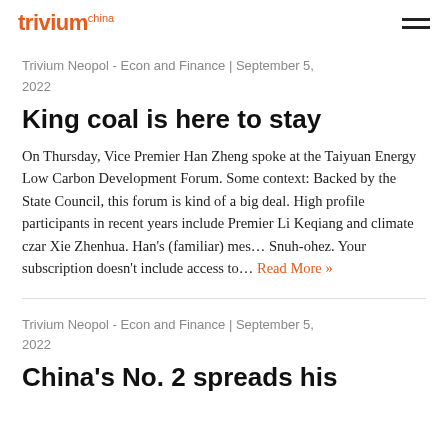trivium china
Trivium Neopol - Econ and Finance | September 5, 2022
King coal is here to stay
On Thursday, Vice Premier Han Zheng spoke at the Taiyuan Energy Low Carbon Development Forum. Some context: Backed by the State Council, this forum is kind of a big deal. High profile participants in recent years include Premier Li Keqiang and climate czar Xie Zhenhua. Han's (familiar) mes… Snuh-ohez. Your subscription doesn't include access to… Read More »
Trivium Neopol - Econ and Finance | September 5, 2022
China's No. 2 spreads his...